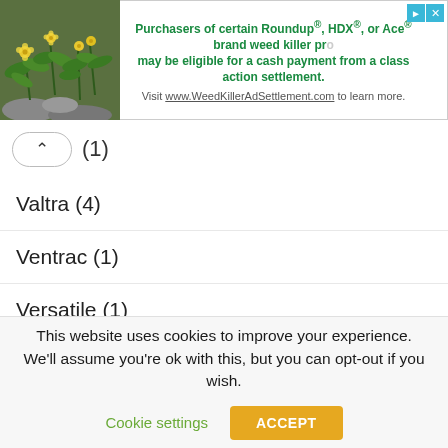[Figure (photo): Advertisement banner with a photo of green plants with yellow flowers on the left, and text about a class action settlement for Roundup, HDX, or Ace brand weed killer on the right.]
(1)
Valtra (4)
Ventrac (1)
Versatile (1)
Volvo (1)
Wheel Horse (20)
White (14)
Yamaha (1)
This website uses cookies to improve your experience. We'll assume you're ok with this, but you can opt-out if you wish.
Cookie settings  ACCEPT